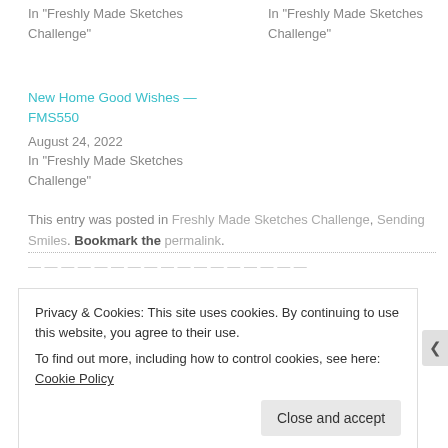In "Freshly Made Sketches Challenge"
In "Freshly Made Sketches Challenge"
New Home Good Wishes — FMS550
August 24, 2022
In "Freshly Made Sketches Challenge"
This entry was posted in Freshly Made Sketches Challenge, Sending Smiles. Bookmark the permalink.
Privacy & Cookies: This site uses cookies. By continuing to use this website, you agree to their use.
To find out more, including how to control cookies, see here: Cookie Policy
Close and accept